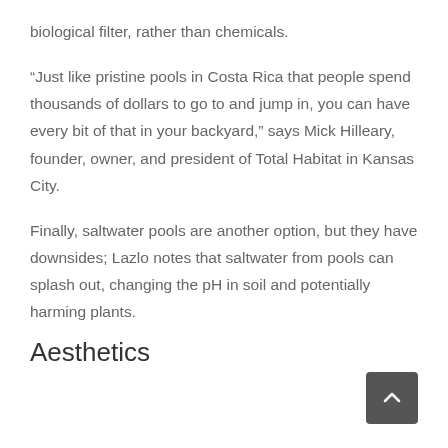biological filter, rather than chemicals.
“Just like pristine pools in Costa Rica that people spend thousands of dollars to go to and jump in, you can have every bit of that in your backyard,” says Mick Hilleary, founder, owner, and president of Total Habitat in Kansas City.
Finally, saltwater pools are another option, but they have downsides; Lazlo notes that saltwater from pools can splash out, changing the pH in soil and potentially harming plants.
Aesthetics